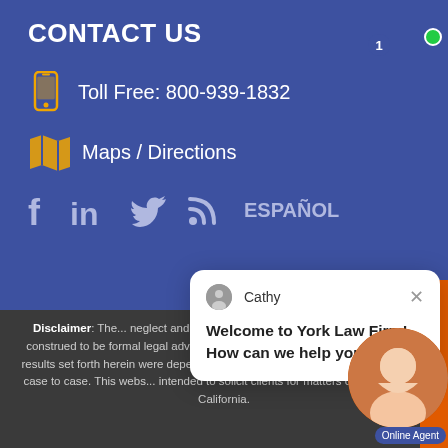CONTACT US
Toll Free: 800-939-1832
Maps / Directions
f  in  🐦  )))  ESPAÑOL
[Figure (screenshot): Chat popup from Cathy: 'Welcome to York Law Firm! How can we help you?']
Disclaimer: The... neglect and abuse... presented at this site should not be construed to be formal legal advice nor the formation of an attorney-client re... results set forth herein were dependent on the facts... and results will differ from case to case. This webs... intended to solicit clients for matters outside the St... California.